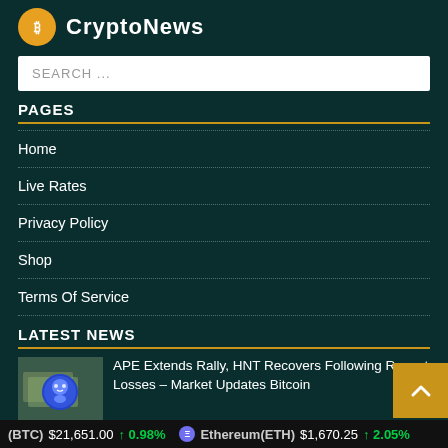CryptoNews
SEARCH ...
PAGES
Home
Live Rates
Privacy Policy
Shop
Terms Of Service
LATEST NEWS
APE Extends Rally, HNT Recovers Following Recent Losses – Market Updates Bitcoin
(BTC) $21,651.00 ↑ 0.98% Ethereum(ETH) $1,670.25 ↑ 2.05%